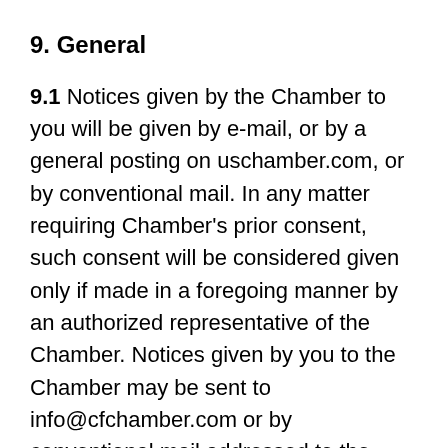9. General
9.1 Notices given by the Chamber to you will be given by e-mail, or by a general posting on uschamber.com, or by conventional mail. In any matter requiring Chamber’s prior consent, such consent will be considered given only if made in a foregoing manner by an authorized representative of the Chamber. Notices given by you to the Chamber may be sent to info@cfchamber.com or by conventional mail addressed to the Cuyahoga Falls Chamber of Commerce, 151 Portage Trail, Suite 1, Cuyahoga Falls OH 44221.
9.2 Except as herein provided, no waiver, modification, or amendment of any provision of